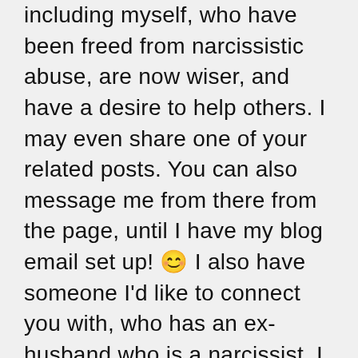including myself, who have been freed from narcissistic abuse, are now wiser, and have a desire to help others. I may even share one of your related posts. You can also message me from there from the page, until I have my blog email set up! 😊 I also have someone I'd like to connect you with, who has an ex-husband who is a narcissist. I think it will help you feel less alone, just as it did when I began to connect with other friends who were scapegoated and isolated from their families, because they have been deceived by a self-centered narcissist. There is no way we can make people see what we see; they have to make a choice to pursue JESUS and ask him what the truth really is. But we do have a choice...